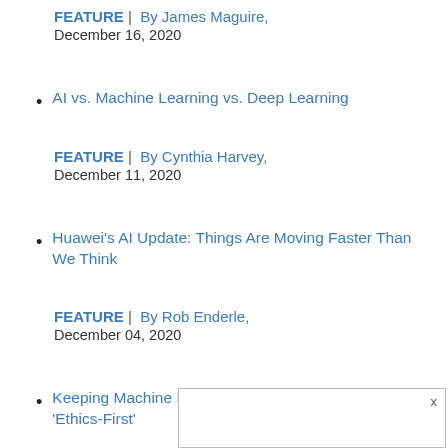FEATURE |  By James Maguire,
December 16, 2020
AI vs. Machine Learning vs. Deep Learning
FEATURE |  By Cynthia Harvey,
December 11, 2020
Huawei's AI Update: Things Are Moving Faster Than We Think
FEATURE |  By Rob Enderle,
December 04, 2020
Keeping Machine Learning Algorithms Honest in the 'Ethics-First'